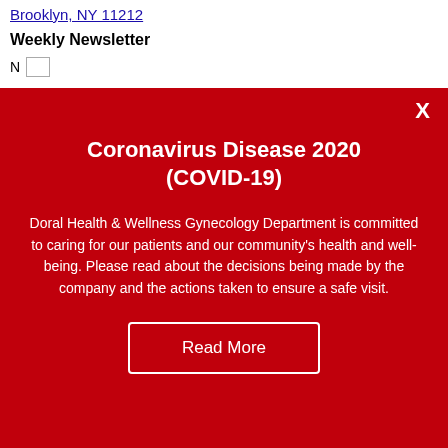Brooklyn, NY 11212
Weekly Newsletter
[Figure (other): Red modal popup overlay for Coronavirus Disease 2020 (COVID-19) announcement with title, body text, and Read More button]
Coronavirus Disease 2020 (COVID-19)
Doral Health & Wellness Gynecology Department is committed to caring for our patients and our community's health and well-being. Please read about the decisions being made by the company and the actions taken to ensure a safe visit.
Read More